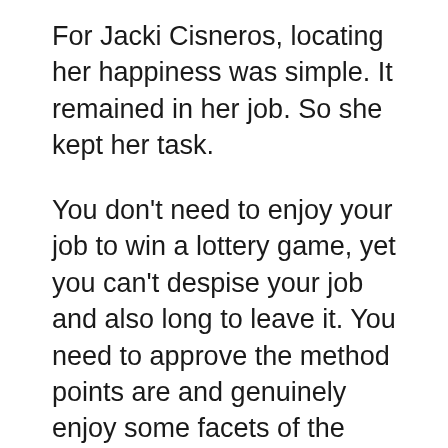For Jacki Cisneros, locating her happiness was simple. It remained in her job. So she kept her task.
You don't need to enjoy your job to win a lottery game, yet you can't despise your job and also long to leave it. You need to approve the method points are and genuinely enjoy some facets of the means points are. Then you can begin believing, with pleasure, concerning various other great points that are coming.
When you do this, you increase your frequency. Raise it high adequate and regularly enough, and also lotteries will certainly match right up with you.